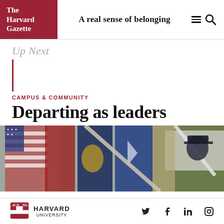The Harvard Gazette | A real sense of belonging
Up Next
CAMPUS & COMMUNITY
Departing as leaders
[Figure (photo): Military color guard with various flags including American flag, photographed from low angle with blurred foreground flags and a person in military dress uniform visible in background]
HARVARD UNIVERSITY — social icons: Twitter, Facebook, LinkedIn, Instagram